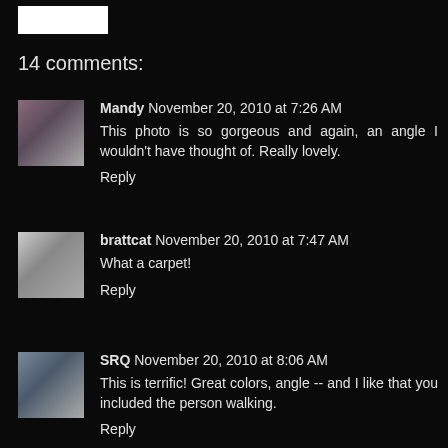[Figure (logo): White rectangular logo/image in top left corner]
14 comments:
Mandy November 20, 2010 at 7:26 AM
This photo is so gorgeous and again, an angle I wouldn't have thought of. Really lovely.
Reply
brattcat November 20, 2010 at 7:47 AM
What a carpet!
Reply
SRQ November 20, 2010 at 8:06 AM
This is terrific! Great colors, angle -- and I like that you included the person walking.
Reply